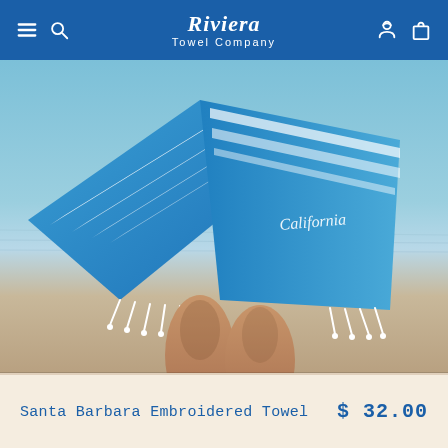Riviera Towel Company
[Figure (photo): Person holding blue Turkish/hammam towels with white stripes and fringe tassels at a beach. The towels are embroidered with 'California' in white script. The person's legs are visible at the bottom against a sandy/water background.]
Santa Barbara Embroidered Towel
$ 32.00